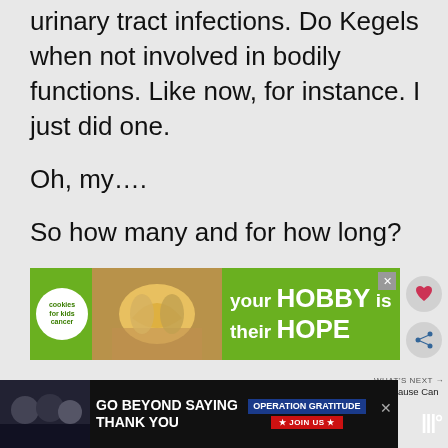urinary tract infections.  Do Kegels when not involved in bodily functions.  Like now, for instance.  I just did one.
Oh, my….
So how many and for how long?
[Figure (photo): Advertisement banner: green background with cookies for kids cancer logo, photo of hands holding a heart-shaped cookie, text 'your HOBBY is their HOPE']
[Figure (photo): Bottom advertisement bar: dark background with people in military/service uniforms, text 'GO BEYOND SAYING THANK YOU', Operation Gratitude logo with 'JOIN US' button]